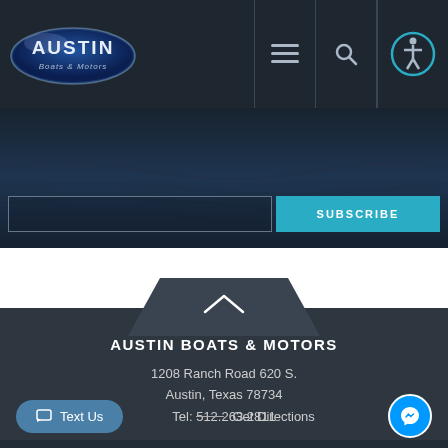[Figure (screenshot): Austin Boats & Motors website header with logo, hamburger menu, search icon, and accessibility icon]
[Figure (photo): Dark blue water/ocean hero image with a search input bar and a teal SUBSCRIBE button]
[Figure (other): White section with dark gray pentagon/chevron scroll-to-top button]
AUSTIN BOATS & MOTORS
1208 Ranch Road 620 S.
Austin, Texas 78734
Tel: 512.263.2811
[Figure (other): Text Us button, Get Directions link with dash, and Messenger floating button]